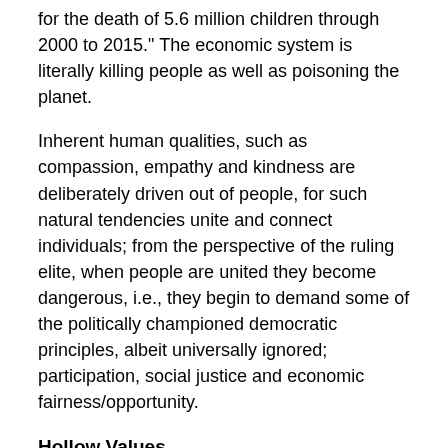for the death of 5.6 million children through 2000 to 2015." The economic system is literally killing people as well as poisoning the planet.
Inherent human qualities, such as compassion, empathy and kindness are deliberately driven out of people, for such natural tendencies unite and connect individuals; from the perspective of the ruling elite, when people are united they become dangerous, i.e., they begin to demand some of the politically championed democratic principles, albeit universally ignored; participation, social justice and economic fairness/opportunity.
Hollow Values
Market fundamentalism is purposely designed to be socially unjust and to perpetuate and intensify the status